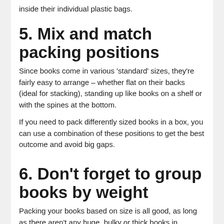inside their individual plastic bags.
5. Mix and match packing positions
Since books come in various 'standard' sizes, they're fairly easy to arrange – whether flat on their backs (ideal for stacking), standing up like books on a shelf or with the spines at the bottom.
If you need to pack differently sized books in a box, you can use a combination of these positions to get the best outcome and avoid big gaps.
6. Don't forget to group books by weight
Packing your books based on size is all good, as long as there aren't any huge, bulky or thick books in between. So, if you have books like 'War and Peace'…